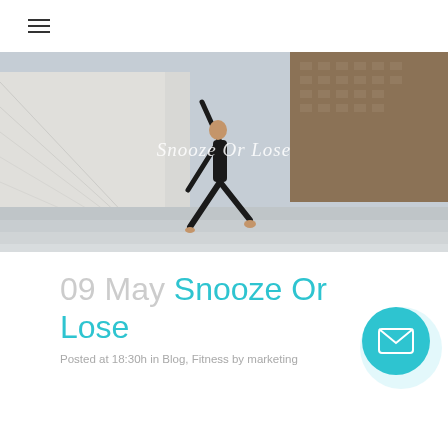≡
[Figure (photo): Full-width hero image of a woman in black athletic wear performing a yoga/dance lunge pose on outdoor concrete steps with urban buildings in the background. White semi-transparent text 'Snooze Or Lose' overlaid in the center.]
09 May Snooze Or Lose
Posted at 18:30h in Blog, Fitness by marketing